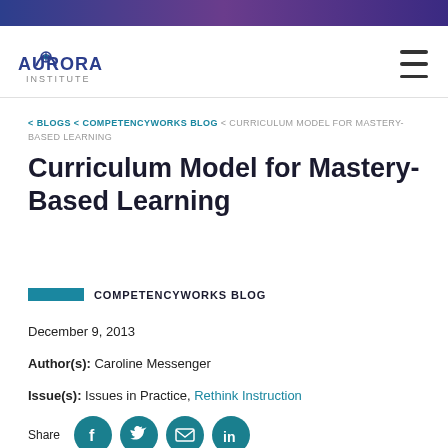[Figure (logo): Aurora Institute logo with star icon and text AURORA INSTITUTE]
Aurora Institute navigation header with hamburger menu
< BLOGS < COMPETENCYWORKS BLOG < CURRICULUM MODEL FOR MASTERY-BASED LEARNING
Curriculum Model for Mastery-Based Learning
COMPETENCYWORKS BLOG
December 9, 2013
Author(s): Caroline Messenger
Issue(s): Issues in Practice, Rethink Instruction
Share